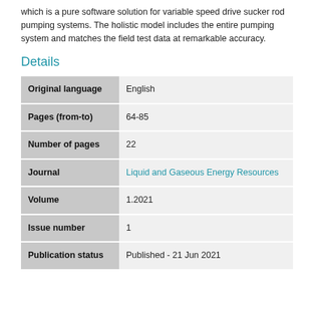which is a pure software solution for variable speed drive sucker rod pumping systems. The holistic model includes the entire pumping system and matches the field test data at remarkable accuracy.
Details
| Field | Value |
| --- | --- |
| Original language | English |
| Pages (from-to) | 64-85 |
| Number of pages | 22 |
| Journal | Liquid and Gaseous Energy Resources |
| Volume | 1.2021 |
| Issue number | 1 |
| Publication status | Published - 21 Jun 2021 |